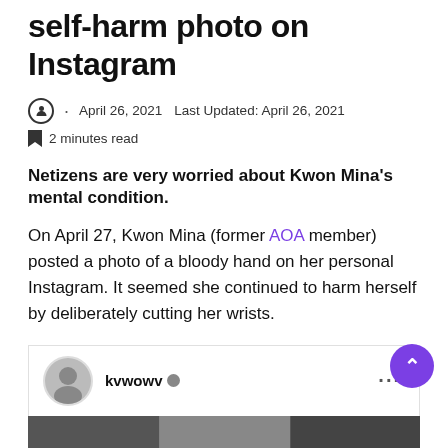Kwon Mina posts another self-harm photo on Instagram
April 26, 2021   Last Updated: April 26, 2021
2 minutes read
Netizens are very worried about Kwon Mina's mental condition.
On April 27, Kwon Mina (former AOA member) posted a photo of a bloody hand on her personal Instagram. It seemed she continued to harm herself by deliberately cutting her wrists.
[Figure (screenshot): Instagram post header showing user 'kvwowv' with avatar and verified badge, followed by a partial dark image strip below]